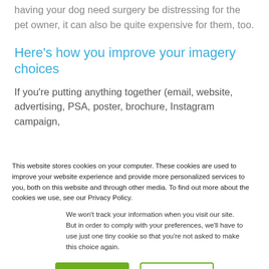having your dog need surgery be distressing for the pet owner, it can also be quite expensive for them, too.
Here's how you improve your imagery choices
If you're putting anything together (email, website, advertising, PSA, poster, brochure, Instagram campaign,
This website stores cookies on your computer. These cookies are used to improve your website experience and provide more personalized services to you, both on this website and through other media. To find out more about the cookies we use, see our Privacy Policy.
We won't track your information when you visit our site. But in order to comply with your preferences, we'll have to use just one tiny cookie so that you're not asked to make this choice again.
Accept
Decline